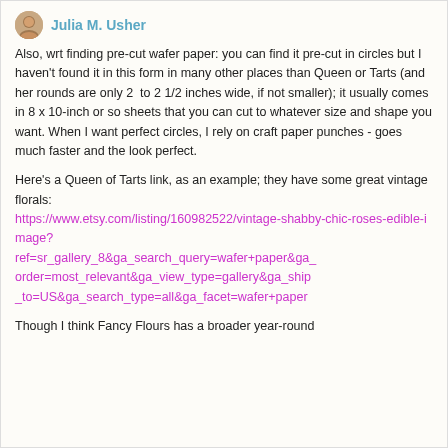Julia M. Usher
Also, wrt finding pre-cut wafer paper: you can find it pre-cut in circles but I haven't found it in this form in many other places than Queen or Tarts (and her rounds are only 2  to 2 1/2 inches wide, if not smaller); it usually comes in 8 x 10-inch or so sheets that you can cut to whatever size and shape you want. When I want perfect circles, I rely on craft paper punches - goes much faster and the look perfect.
Here's a Queen of Tarts link, as an example; they have some great vintage florals: https://www.etsy.com/listing/160982522/vintage-shabby-chic-roses-edible-image?ref=sr_gallery_8&ga_search_query=wafer+paper&ga_order=most_relevant&ga_view_type=gallery&ga_ship_to=US&ga_search_type=all&ga_facet=wafer+paper
Though I think Fancy Flours has a broader year-round